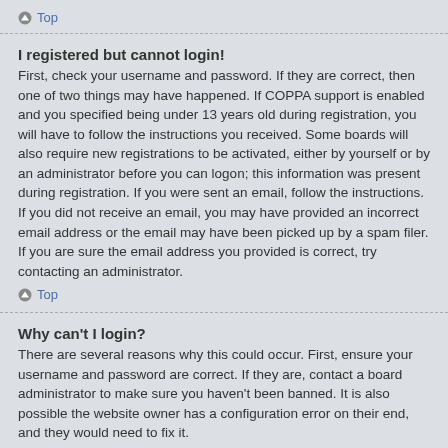Top
I registered but cannot login!
First, check your username and password. If they are correct, then one of two things may have happened. If COPPA support is enabled and you specified being under 13 years old during registration, you will have to follow the instructions you received. Some boards will also require new registrations to be activated, either by yourself or by an administrator before you can logon; this information was present during registration. If you were sent an email, follow the instructions. If you did not receive an email, you may have provided an incorrect email address or the email may have been picked up by a spam filer. If you are sure the email address you provided is correct, try contacting an administrator.
Top
Why can't I login?
There are several reasons why this could occur. First, ensure your username and password are correct. If they are, contact a board administrator to make sure you haven't been banned. It is also possible the website owner has a configuration error on their end, and they would need to fix it.
Top
I registered in the past but cannot login any more?!
It is possible an administrator has deactivated or deleted your account for some reason. Also, many boards periodically remove users who have not posted for a